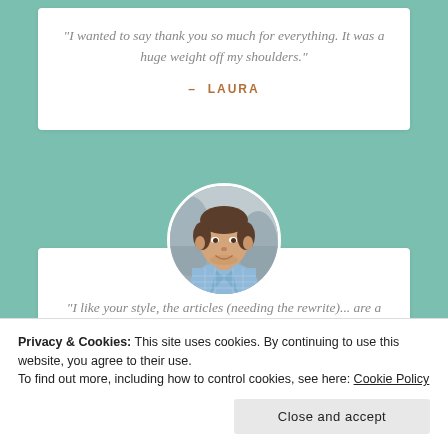“I wanted to say thank you so much for everything. It was a huge weight off my shoulders.”
– LAURA
[Figure (photo): Circular portrait photo of a man with short dark hair wearing a light blue checked shirt, blurred background]
“I like your style, the articles (needing the rewrite)... are a
Privacy & Cookies: This site uses cookies. By continuing to use this website, you agree to their use. To find out more, including how to control cookies, see here: Cookie Policy
Close and accept